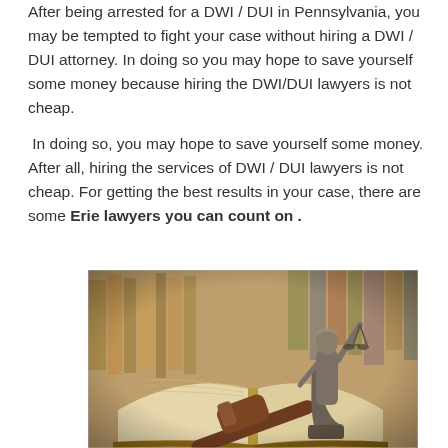After being arrested for a DWI / DUI in Pennsylvania, you may be tempted to fight your case without hiring a DWI / DUI attorney. In doing so you may hope to save yourself some money because hiring the DWI/DUI lawyers is not cheap.
In doing so, you may hope to save yourself some money. After all, hiring the services of DWI / DUI lawyers is not cheap. For getting the best results in your case, there are some Erie lawyers you can count on .
[Figure (photo): Photo of a Lady Justice statue and a judge's gavel resting on an open book, with a blurred bookshelf in the background.]